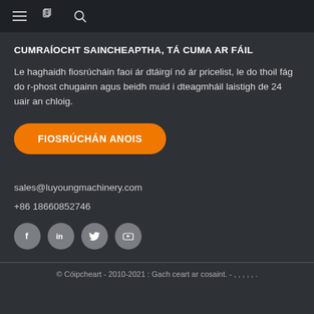≡  🔖  🔍
CUMRAÍOCHT SAINCHEAPTHA, TÁ CUMA AR FÁIL
Le haghaidh fiosrúcháin faoi ár dtáirgí nó ár pricelist, le do thoil fág do r-phost chugainn agus beidh muid i dteagmháil laistigh de 24 uair an chloig.
FIOSRÚCHÁN ANOIS
sales@luyoungmachinery.com
+86 18660852746
[Figure (infographic): Social media icons: Facebook, LinkedIn, Twitter, YouTube in grey circles]
© Cóipcheart - 2010-2021 : Gach ceart ar cosaint. - , , , , , .